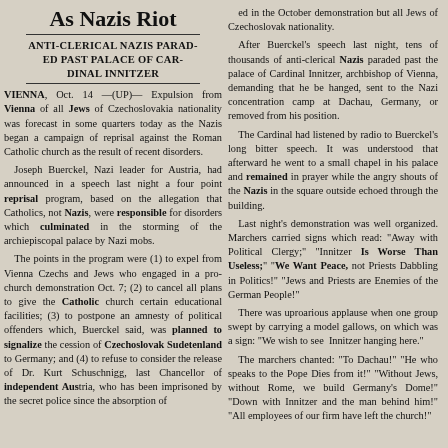As Nazis Riot
ANTI-CLERICAL NAZIS PARADED PAST PALACE OF CARDINAL INNITZER
VIENNA, Oct. 14 —(UP)— Expulsion from Vienna of all Jews of Czechoslovakia nationality was forecast in some quarters today as the Nazis began a campaign of reprisal against the Roman Catholic church as the result of recent disorders.

Joseph Buerckel, Nazi leader for Austria, had announced in a speech last night a four point reprisal program, based on the allegation that Catholics, not Nazis, were responsible for disorders which culminated in the storming of the archiepiscopal palace by Nazi mobs.

The points in the program were (1) to expel from Vienna Czechs and Jews who engaged in a pro-church demonstration Oct. 7; (2) to cancel all plans to give the Catholic church certain educational facilities; (3) to postpone an amnesty of political offenders which, Buerckel said, was planned to signalize the cession of Czechoslovak Sudetenland to Germany; and (4) to refuse to consider the release of Dr. Kurt Schuschnigg, last Chancellor of independent Austria, who has been imprisoned by the secret police since the absorption of
ed in the October demonstration but all Jews of Czechoslovak nationality.

After Buerckel's speech last night, tens of thousands of anti-clerical Nazis paraded past the palace of Cardinal Innitzer, archbishop of Vienna, demanding that he be hanged, sent to the Nazi concentration camp at Dachau, Germany, or removed from his position.

The Cardinal had listened by radio to Buerckel's long bitter speech. It was understood that afterward he went to a small chapel in his palace and remained in prayer while the angry shouts of the Nazis in the square outside echoed through the building.

Last night's demonstration was well organized. Marchers carried signs which read: "Away with Political Clergy;" "Innitzer Is Worse Than Useless;" "We Want Peace, not Priests Dabbling in Politics!" "Jews and Priests are Enemies of the German People!"

There was uproarious applause when one group swept by carrying a model gallows, on which was a sign: "We wish to see Innitzer hanging here."

The marchers chanted: "To Dachau!" "He who speaks to the Pope Dies from it!" "Without Jews, without Rome, we build Germany's Dome!" "Down with Innitzer and the man behind him!" "All employees of our firm have left the church!"